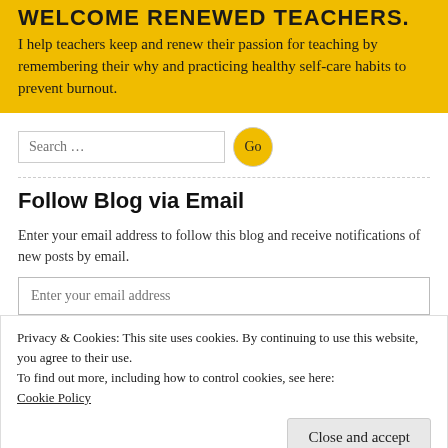WELCOME RENEWED TEACHERS.
I help teachers keep and renew their passion for teaching by remembering their why and practicing healthy self-care habits to prevent burnout.
Follow Blog via Email
Enter your email address to follow this blog and receive notifications of new posts by email.
Privacy & Cookies: This site uses cookies. By continuing to use this website, you agree to their use.
To find out more, including how to control cookies, see here:
Cookie Policy
Close and accept